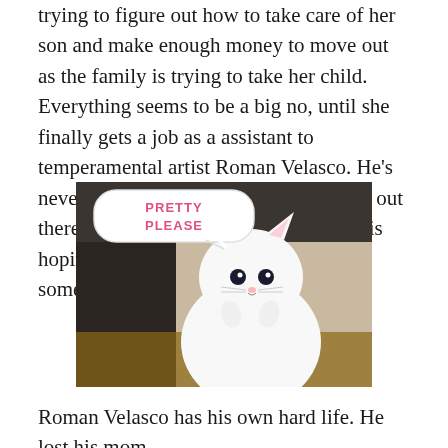trying to figure out how to take care of her son and make enough money to move out as the family is trying to take her child. Everything seems to be a big no, until she finally gets a job as a assistant to temperamental artist Roman Velasco. He's never been able to keep one as he is too out there and hard to work with, but Grace is hoping to stick it out until she can find something else.
[Figure (photo): A meme image of a white cat with paws pressed together in a pleading gesture, with a speech bubble saying 'PRETTY PLEASE' in pink text on a white rounded rectangle bubble.]
Roman Velasco has his own hard life. He lost his mom